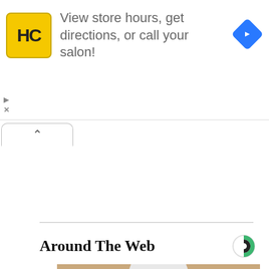[Figure (screenshot): Advertisement banner for Hair Club (HC) salon with yellow logo, text 'View store hours, get directions, or call your salon!', and a blue navigation diamond icon on the right. Small play and close controls below on the left.]
[Figure (screenshot): Collapsed tab bar with an up-arrow chevron button on a white rounded tab.]
Around The Web
[Figure (photo): A hand holding a white bullet-shaped smart security camera device with a rotating turret head, LED lights at the bottom, photographed against a wooden surface background.]